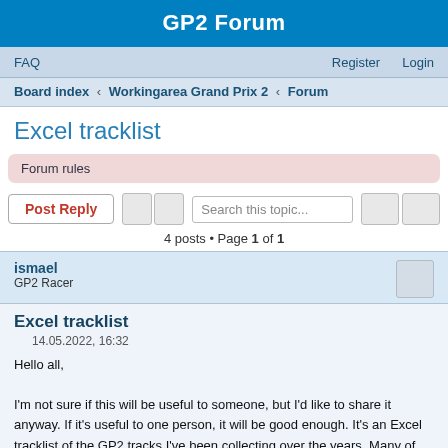GP2 Forum
FAQ   Register   Login
Board index ‹ Workingarea Grand Prix 2 ‹ Forum
Excel tracklist
Forum rules
Post Reply   Search this topic...
4 posts • Page 1 of 1
ismael
GP2 Racer
Excel tracklist
14.05.2022, 16:32
Hello all,

I'm not sure if this will be useful to someone, but I'd like to share it anyway. If it's useful to one person, it will be good enough. It's an Excel tracklist of the GP2 tracks I've been collecting over the years. Many of them I haven't tried it yet.